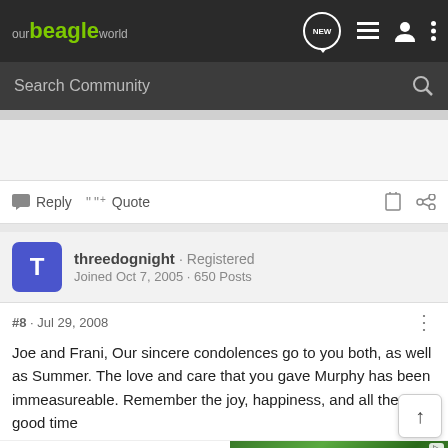our beagle world
Search Community
Reply  Quote
threedognight · Registered
Joined Oct 7, 2005 · 650 Posts
#8 · Jul 29, 2008
Joe and Frani, Our sincere condolences go to you both, as well as Summer. The love and care that you gave Murphy has been immeasureable. Remember the joy, happiness, and all the good time
[Figure (other): UNICEF advertisement with logo and photo of smiling children wearing green hats]